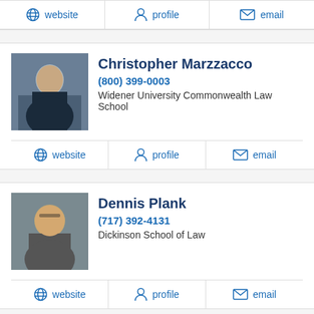website  profile  email
Christopher Marzzacco
(800) 399-0003
Widener University Commonwealth Law School
website  profile  email
Dennis Plank
(717) 392-4131
Dickinson School of Law
website  profile  email
Queena Baumbach